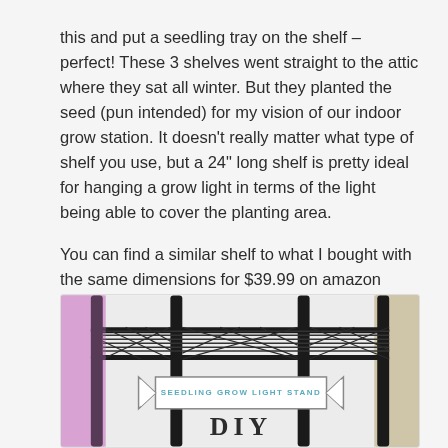this and put a seedling tray on the shelf – perfect! These 3 shelves went straight to the attic where they sat all winter. But they planted the seed (pun intended) for my vision of our indoor grow station. It doesn't really matter what type of shelf you use, but a 24" long shelf is pretty ideal for hanging a grow light in terms of the light being able to cover the planting area.
You can find a similar shelf to what I bought with the same dimensions for $39.99 on amazon here.
[Figure (photo): Photo of a black wire metal shelf/rack with a banner sign reading 'SEEDLING GROW LIGHT STAND' in teal letters, with 'DIY' visible below it. Pink/purple grow light visible on left side, beige wall on right.]